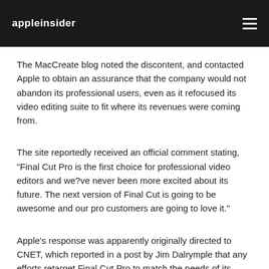appleinsider
The MacCreate blog noted the discontent, and contacted Apple to obtain an assurance that the company would not abandon its professional users, even as it refocused its video editing suite to fit where its revenues were coming from.
The site reportedly received an official comment stating, "Final Cut Pro is the first choice for professional video editors and we?ve never been more excited about its future. The next version of Final Cut is going to be awesome and our pro customers are going to love it."
Apple's response was apparently originally directed to CNET, which reported in a post by Jim Dalrymple that any efforts to retarget Final Cut Pro to match the needs of its actual audience "would mean Apple would target customers moving